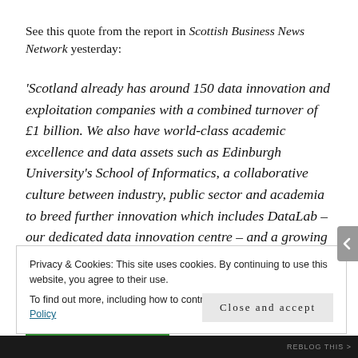See this quote from the report in Scottish Business News Network yesterday:
'Scotland already has around 150 data innovation and exploitation companies with a combined turnover of £1 billion. We also have world-class academic excellence and data assets such as Edinburgh University's School of Informatics, a collaborative culture between industry, public sector and academia to breed further innovation which includes DataLab – our dedicated data innovation centre – and a growing number of investors choosing
Privacy & Cookies: This site uses cookies. By continuing to use this website, you agree to their use.
To find out more, including how to control cookies, see here: Cookie Policy
Close and accept